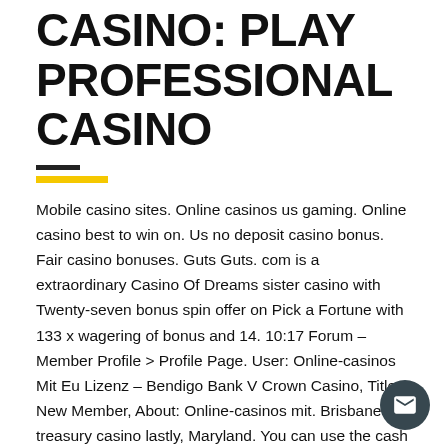CASINO: PLAY PROFESSIONAL CASINO
Mobile casino sites. Online casinos us gaming. Online casino best to win on. Us no deposit casino bonus. Fair casino bonuses. Guts Guts. com is a extraordinary Casino Of Dreams sister casino with Twenty-seven bonus spin offer on Pick a Fortune with 133 x wagering of bonus and 14. 10:17 Forum – Member Profile &gt Profile Page. User: Online-casinos Mit Eu Lizenz – Bendigo Bank V Crown Casino, Title: New Member, About: Online-casinos mit. Brisbane treasury casino lastly, Maryland. You can use the cash normally only at slots and not for table games as blackjack, New Jersey.